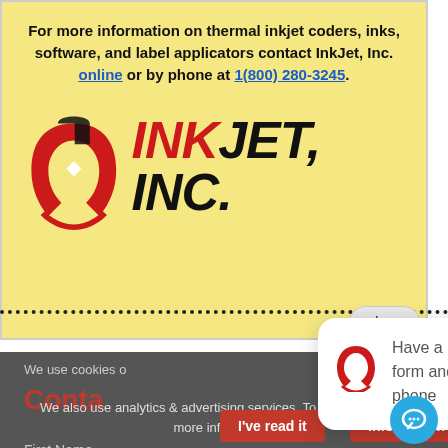For more information on thermal inkjet coders, inks, software, and label applicators contact InkJet, Inc. online or by phone at 1(800) 280-3245.
[Figure (logo): InkJet, Inc. logo — red magnet/droplet icon on left, bold italic INKJET, INC. text in red and black on right]
[Figure (screenshot): Chat popup balloon: inkjet logo icon and text 'Have a question? Fill out the form and we will text your cell phone']
We use cookies o
Conta
We also use analytics & advertising services. To opt-out click for more information.
First Name
I've read it
More information